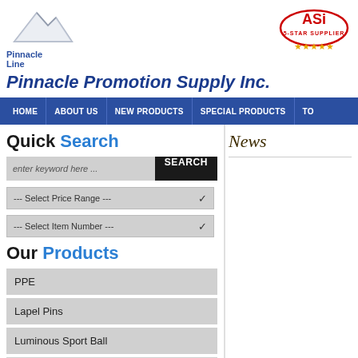[Figure (logo): Pinnacle Line mountain logo with text 'Pinnacle Line']
[Figure (logo): ASI 5-Star Supplier badge with stars]
Pinnacle Promotion Supply Inc.
HOME | ABOUT US | NEW PRODUCTS | SPECIAL PRODUCTS | TO...
Quick Search
enter keyword here ...
--- Select Price Range ---
--- Select Item Number ---
Our Products
PPE
Lapel Pins
Luminous Sport Ball
Drinkware
News